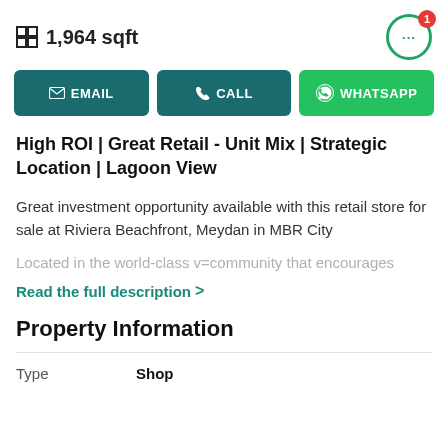1,964 sqft
EMAIL
CALL
WHATSAPP
High ROI | Great Retail - Unit Mix | Strategic Location | Lagoon View
Great investment opportunity available with this retail store for sale at Riviera Beachfront, Meydan in MBR City
Located in the world-class v=community that encourages
Read the full description >
Property Information
| Type | Shop |
| --- | --- |
| Type | Shop |